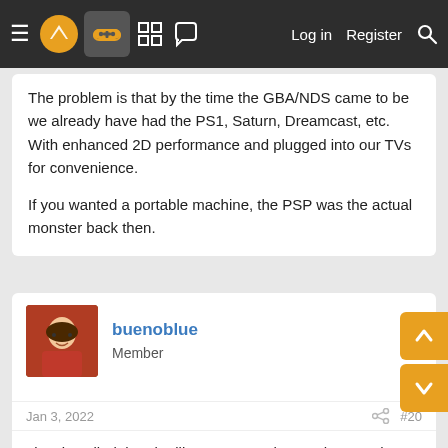≡ [logo] [controller icon] [grid icon] [chat icon]  Log in  Register  [search icon]
The problem is that by the time the GBA/NDS came to be we already have had the PS1, Saturn, Dreamcast, etc. With enhanced 2D performance and plugged into our TVs for convenience.

If you wanted a portable machine, the PSP was the actual monster back then.
buenoblue
Member
Jan 3, 2022  #20
I just installed the gba library on my phone. I have a cheap ipega red knight controller. GBA looks great on my OLED phone. Any recommendations as I missed the gba entirely. Also is it worth emulating ds on a phone. I do have a stylus for my phone somewhere but do the games work ok on a